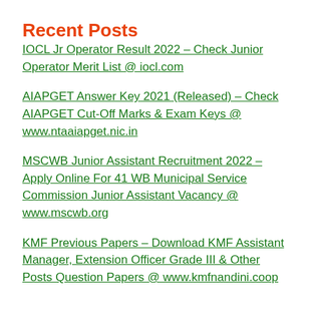Recent Posts
IOCL Jr Operator Result 2022 – Check Junior Operator Merit List @ iocl.com
AIAPGET Answer Key 2021 (Released) – Check AIAPGET Cut-Off Marks & Exam Keys @ www.ntaaiapget.nic.in
MSCWB Junior Assistant Recruitment 2022 – Apply Online For 41 WB Municipal Service Commission Junior Assistant Vacancy @ www.mscwb.org
KMF Previous Papers – Download KMF Assistant Manager, Extension Officer Grade III & Other Posts Question Papers @ www.kmfnandini.coop